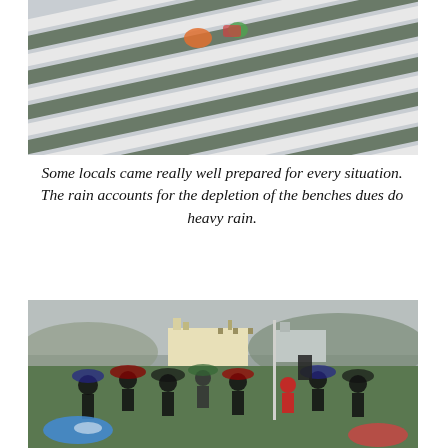[Figure (photo): Overhead view of empty bleachers/benches with white and green rows, a few spectators visible with bags and colourful items, taken from an elevated angle.]
Some locals came really well prepared for every situation. The rain accounts for the depletion of the benches dues do heavy rain.
[Figure (photo): Outdoor scene in rainy weather showing a marching band or military parade on a sports field, spectators with umbrellas, buildings and hills in the background.]